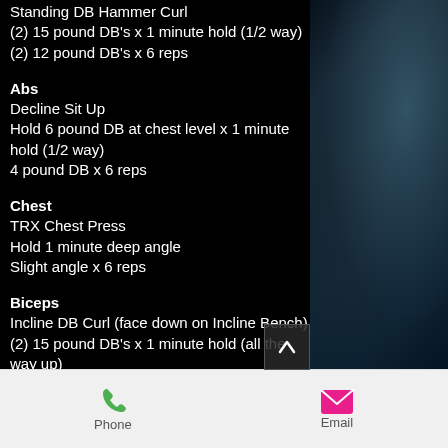Standing DB Hammer Curl
(2) 15 pound DB's x 1 minute hold (1/2 way)
(2) 12 pound DB's x 6 reps
Abs
Decline Sit Up
Hold 6 pound DB at chest level x 1 minute hold (1/2 way)
4 pound DB x 6 reps
Chest
TRX Chest Press
Hold 1 minute deep angle
Slight angle x 6 reps
Biceps
Incline DB Curl (face down on Incline Bench)
(2) 15 pound DB's x 1 minute hold (all the way up)
Phone   Email